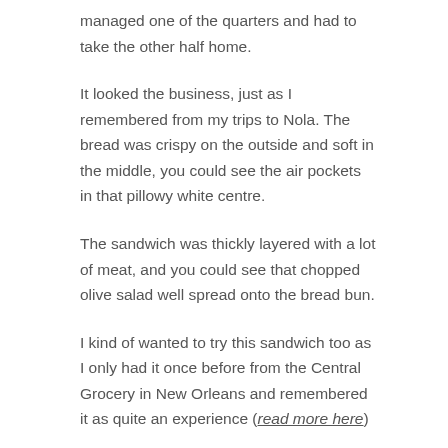managed one of the quarters and had to take the other half home.
It looked the business, just as I remembered from my trips to Nola. The bread was crispy on the outside and soft in the middle, you could see the air pockets in that pillowy white centre.
The sandwich was thickly layered with a lot of meat, and you could see that chopped olive salad well spread onto the bread bun.
I kind of wanted to try this sandwich too as I only had it once before from the Central Grocery in New Orleans and remembered it as quite an experience (read more here)